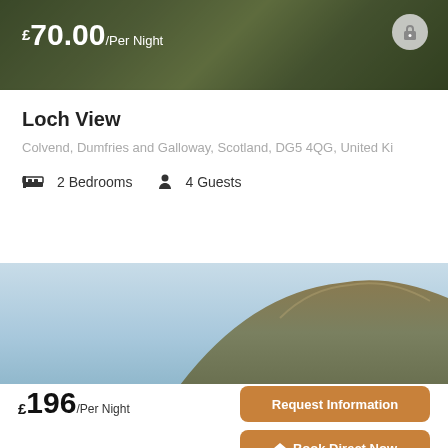[Figure (photo): Stone wall property photo with price overlay showing £70.00/Per Night and a circular lock icon in the top right corner]
Loch View
Colvend, Dumfries and Galloway, Scotland, DG5 4QG, United Ki
2 Bedrooms   4 Guests
[Figure (photo): Landscape photo showing blue sky and a hillside with grass and rock]
£196/Per Night
Request Information
Book Direct Now